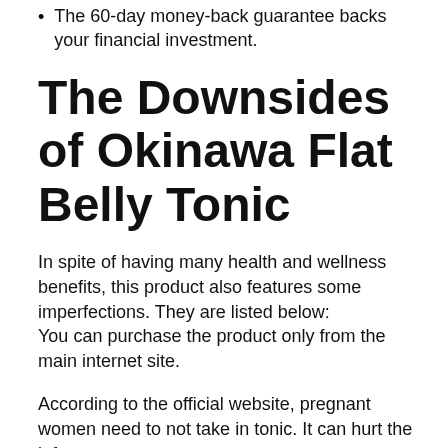The 60-day money-back guarantee backs your financial investment.
The Downsides of Okinawa Flat Belly Tonic
In spite of having many health and wellness benefits, this product also features some imperfections. They are listed below: You can purchase the product only from the main internet site.
According to the official website, pregnant women need to not take in tonic. It can hurt the infant..